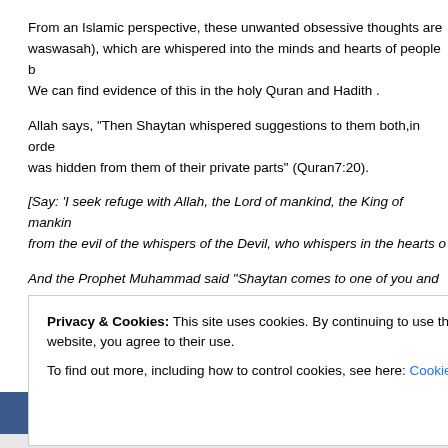From an Islamic perspective, these unwanted obsessive thoughts are [waswasah), which are whispered into the minds and hearts of people b... We can find evidence of this in the holy Quran and Hadith .
Allah says, "Then Shaytan whispered suggestions to them both,in orde... was hidden from them of their private parts" (Quran7:20).
[Say: 'I seek refuge with Allah, the Lord of mankind, the King of mankin... from the evil of the whispers of the Devil, who whispers in the hearts o...
And the Prophet Muhammad said "Shaytan comes to one of you and s... so and so-and-so?' till he says, 'Who has created your Lord?' So, whe... question, one should seek refuge with Allah and give up such thoughts...
All human beings experience at some point in their life wasawis, regard... creed. However, the nature, content, severity, and influence of these w...
Privacy & Cookies: This site uses cookies. By continuing to use this website, you agree to their use. To find out more, including how to control cookies, see here: Cookie Policy
Close and accept